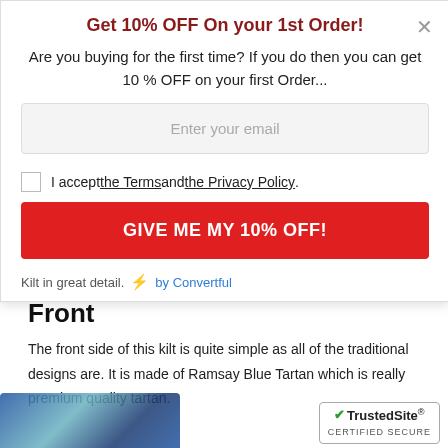Get 10% OFF On your 1st Order!
Are you buying for the first time? If you do then you can get 10 % OFF on your first Order...
Enter your email
I accept the Terms and the Privacy Policy.
GIVE ME MY 10% OFF!
Kilt in great detail.    ⚡ by Convertful
Front
The front side of this kilt is quite simple as all of the traditional designs are. It is made of Ramsay Blue Tartan which is really premium quality tartan.
[Figure (other): TrustedSite Certified Secure badge]
[Figure (photo): Partial view of a blue tartan kilt fabric at the bottom of the page]